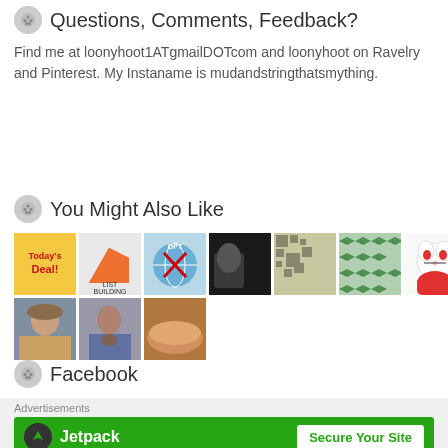Questions, Comments, Feedback?
Find me at loonyhoot1ATgmailDOTcom and loonyhoot on Ravelry and Pinterest. My Instaname is mudandstringthatsmything.
You Might Also Like
[Figure (illustration): Grid of thumbnail images showing various blog post previews and related content images in two rows]
Facebook
Advertisements
[Figure (infographic): Jetpack advertisement banner with green background, Jetpack logo and 'Secure Your Site' button]